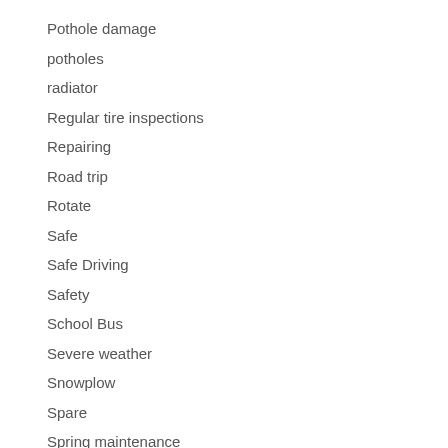Pothole damage
potholes
radiator
Regular tire inspections
Repairing
Road trip
Rotate
Safe
Safe Driving
Safety
School Bus
Severe weather
Snowplow
Spare
Spring maintenance